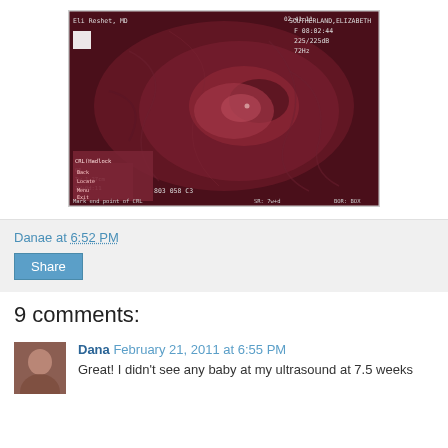[Figure (photo): Ultrasound image showing a fetus at approximately 7.5 weeks. Header text reads: Eli Reshet, MD | SOUTHERLAND,ELIZABETH | F 08:02:44 | 225/225dB | CRL Hadlock measurements visible in lower left. Bottom text: 803 058 C3 | Mark end point of CRL | SR: 7w+d | BON: BOX]
Danae at 6:52 PM
Share
9 comments:
Dana February 21, 2011 at 6:55 PM
Great! I didn't see any baby at my ultrasound at 7.5 weeks